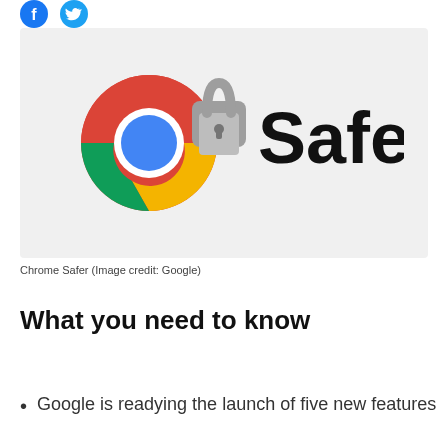[Figure (illustration): Two social media icons: Facebook (blue circle with 'f') and Twitter (blue circle with bird logo)]
[Figure (illustration): Chrome Safer promotional image: Google Chrome logo combined with a padlock icon and the word 'Safer.' in bold black text on a light gray background]
Chrome Safer (Image credit: Google)
What you need to know
Google is readying the launch of five new features